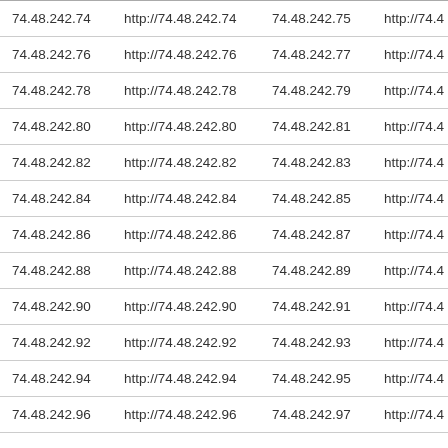| 74.48.242.74 | http://74.48.242.74 | 74.48.242.75 | http://74.4 |
| 74.48.242.76 | http://74.48.242.76 | 74.48.242.77 | http://74.4 |
| 74.48.242.78 | http://74.48.242.78 | 74.48.242.79 | http://74.4 |
| 74.48.242.80 | http://74.48.242.80 | 74.48.242.81 | http://74.4 |
| 74.48.242.82 | http://74.48.242.82 | 74.48.242.83 | http://74.4 |
| 74.48.242.84 | http://74.48.242.84 | 74.48.242.85 | http://74.4 |
| 74.48.242.86 | http://74.48.242.86 | 74.48.242.87 | http://74.4 |
| 74.48.242.88 | http://74.48.242.88 | 74.48.242.89 | http://74.4 |
| 74.48.242.90 | http://74.48.242.90 | 74.48.242.91 | http://74.4 |
| 74.48.242.92 | http://74.48.242.92 | 74.48.242.93 | http://74.4 |
| 74.48.242.94 | http://74.48.242.94 | 74.48.242.95 | http://74.4 |
| 74.48.242.96 | http://74.48.242.96 | 74.48.242.97 | http://74.4 |